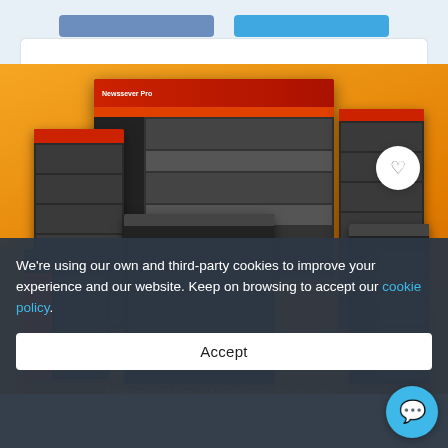[Figure (screenshot): Screenshot of a news/magazine WordPress theme product page showing multiple device mockups with orange and dark UI on orange gradient background. A heart/favorite button is visible in the top right of the image.]
We're using our own and third-party cookies to improve your experience and our website. Keep on browsing to accept our cookie policy.
Accept